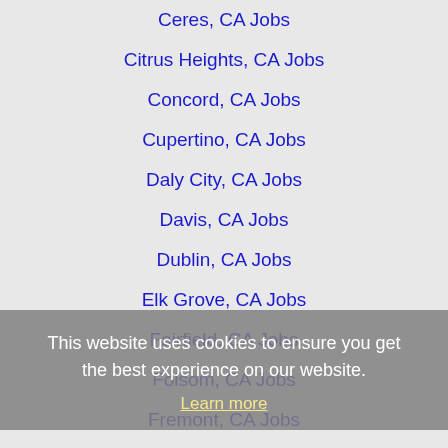Ceres, CA Jobs
Citrus Heights, CA Jobs
Concord, CA Jobs
Cupertino, CA Jobs
Daly City, CA Jobs
Davis, CA Jobs
Dublin, CA Jobs
Elk Grove, CA Jobs
Fairfield, CA Jobs
Folsom, CA Jobs
Fremont, CA Jobs
Gilroy, CA Jobs
Hayward, CA Jobs
Laguna, CA Jobs
Lincoln, CA Jobs
Livermore, CA Jobs
Lodi, CA Jobs
Manteca, CA Jobs
This website uses cookies to ensure you get the best experience on our website.
Learn more